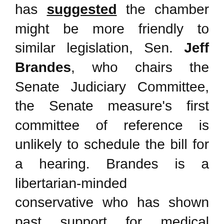has suggested the chamber might be more friendly to similar legislation, Sen. Jeff Brandes, who chairs the Senate Judiciary Committee, the Senate measure's first committee of reference is unlikely to schedule the bill for a hearing. Brandes is a libertarian-minded conservative who has shown past support for medical cannabis and opposition to efforts to thwart it. Accordingly, the bill (SB 1958) has yet to be placed on his committee's agenda.
The House bill now heads to the Health Care Appropriations Subcommittee.
Floridians approved a constitutional amendment in 2016 that broadly legalized the use of medical marijuana for patients with